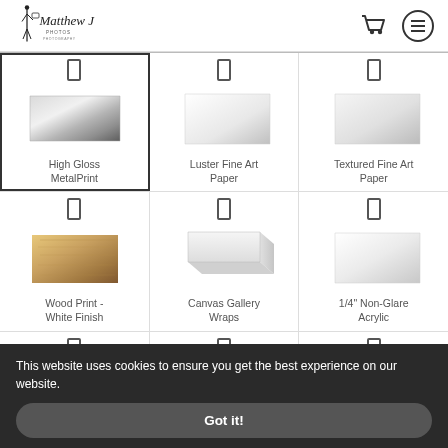Matthew J Photos — navigation header with logo, cart icon, and menu icon
[Figure (other): Product selection grid showing: High Gloss MetalPrint (selected), Luster Fine Art Paper, Textured Fine Art Paper, Wood Print - White Finish, Canvas Gallery Wraps, 1/4" Non-Glare Acrylic, and partial row with bag/phone/mug icons]
This website uses cookies to ensure you get the best experience on our website.
Got it!